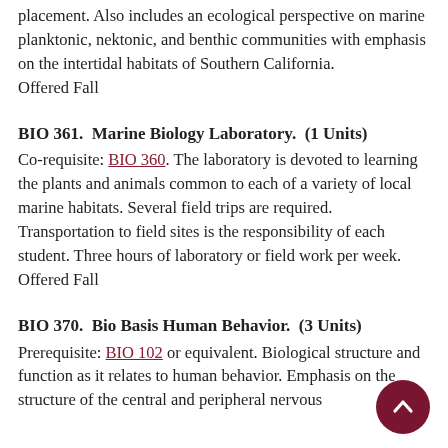placement. Also includes an ecological perspective on marine planktonic, nektonic, and benthic communities with emphasis on the intertidal habitats of Southern California. Offered Fall
BIO 361.  Marine Biology Laboratory.  (1 Units)
Co-requisite: BIO 360. The laboratory is devoted to learning the plants and animals common to each of a variety of local marine habitats. Several field trips are required. Transportation to field sites is the responsibility of each student. Three hours of laboratory or field work per week. Offered Fall
BIO 370.  Bio Basis Human Behavior.  (3 Units)
Prerequisite: BIO 102 or equivalent. Biological structure and function as it relates to human behavior. Emphasis on the structure of the central and peripheral nervous